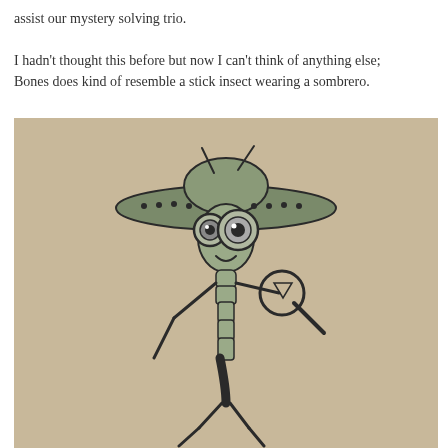assist our mystery solving trio.

I hadn't thought this before but now I can't think of anything else; Bones does kind of resemble a stick insect wearing a sombrero.
[Figure (illustration): A pencil/ink drawing on beige paper of a stick insect character wearing a sombrero hat and holding a magnifying glass, depicted in a cartoon detective style.]